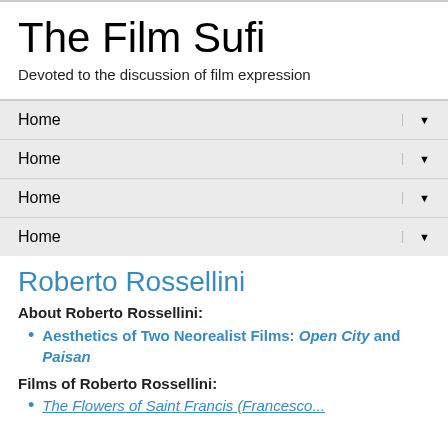The Film Sufi
Devoted to the discussion of film expression
Home ▼
Home ▼
Home ▼
Home ▼
Roberto Rossellini
About Roberto Rossellini:
Aesthetics of Two Neorealist Films: Open City and Paisan
Films of Roberto Rossellini:
The Flowers of Saint Francis (Francesco...